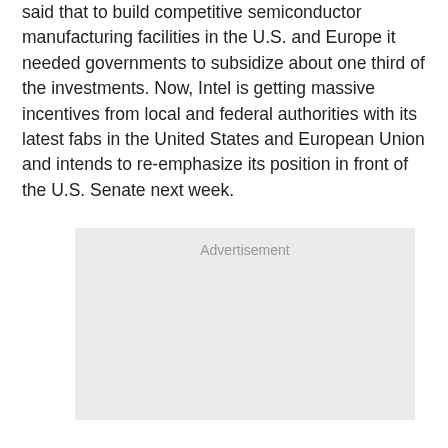said that to build competitive semiconductor manufacturing facilities in the U.S. and Europe it needed governments to subsidize about one third of the investments. Now, Intel is getting massive incentives from local and federal authorities with its latest fabs in the United States and European Union and intends to re-emphasize its position in front of the U.S. Senate next week.
[Figure (other): Advertisement placeholder box with light gray background and 'Advertisement' label at top center]